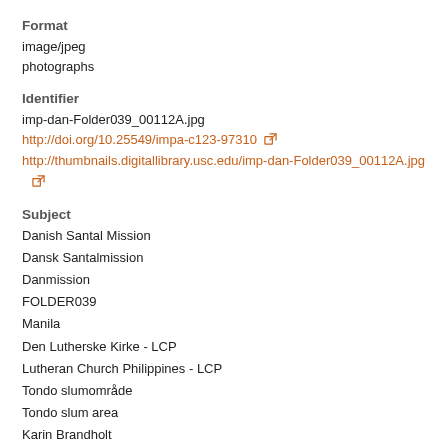Format
image/jpeg
photographs
Identifier
imp-dan-Folder039_00112A.jpg
http://doi.org/10.25549/impa-c123-97310
http://thumbnails.digitallibrary.usc.edu/imp-dan-Folder039_00112A.jpg
Subject
Danish Santal Mission
Dansk Santalmission
Danmission
FOLDER039
Manila
Den Lutherske Kirke - LCP
Lutheran Church Philippines - LCP
Tondo slumområde
Tondo slum area
Karin Brandholt
Volunteers